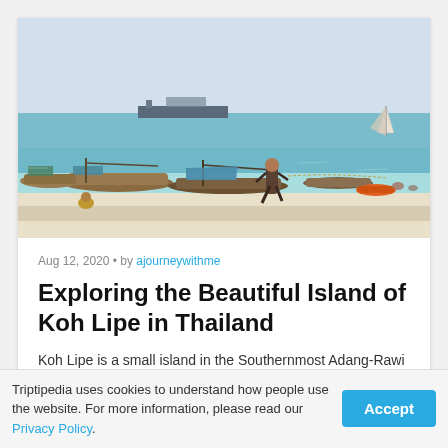[Figure (photo): Beach scene at Koh Lipe, Thailand, showing longtail boats on turquoise water, white sandy beach, people, and a sailboat in the distance under a pale blue sky.]
Aug 12, 2020 • by ajourneywithme
Exploring the Beautiful Island of Koh Lipe in Thailand
Koh Lipe is a small island in the Southernmost Adang-Rawi archipelago of the Andaman Sea in Thailand. It is part of the world-famous Tarutao National Marine...
Triptipedia uses cookies to understand how people use the website. For more information, please read our Privacy Policy.